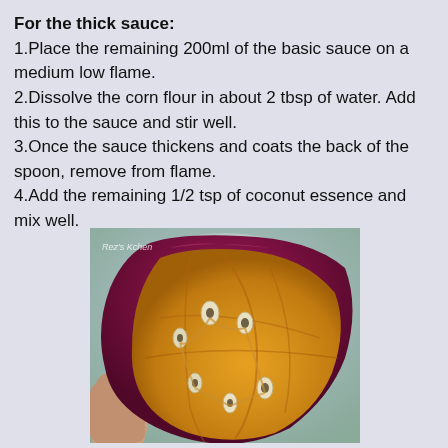For the thick sauce:
1.Place the remaining 200ml of the basic sauce on a medium low flame.
2.Dissolve the corn flour in about 2 tbsp of water. Add this to the sauce and stir well.
3.Once the sauce thickens and coats the back of the spoon, remove from flame.
4.Add the remaining 1/2 tsp of coconut essence and mix well.
[Figure (photo): Close-up photo of a passion fruit cut open, showing the yellow interior with seeds, held by fingers. The outer skin is deep red/purple.]